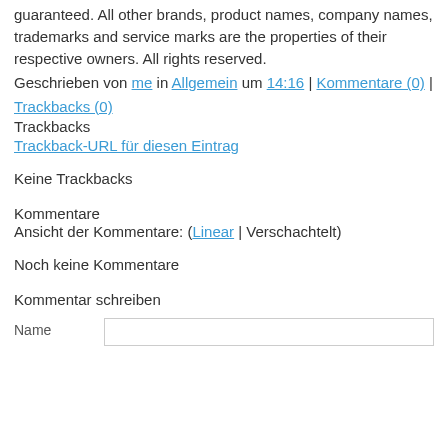guaranteed. All other brands, product names, company names, trademarks and service marks are the properties of their respective owners. All rights reserved.
Geschrieben von me in Allgemein um 14:16 | Kommentare (0) | Trackbacks (0)
Trackbacks
Trackback-URL für diesen Eintrag
Keine Trackbacks
Kommentare
Ansicht der Kommentare: (Linear | Verschachtelt)
Noch keine Kommentare
Kommentar schreiben
Name